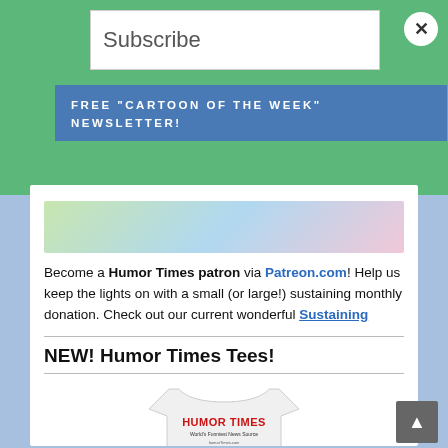Subscribe
FREE "Cartoon of the Week" Newsletter!
[Figure (illustration): Partial cartoon illustration visible at top of white card, colorful characters]
Become a Humor Times patron via Patreon.com! Help us keep the lights on with a small (or large!) sustaining monthly donation. Check out our current wonderful Sustaining Supporters here! Please join them, and help support independent media! We thank you.
NEW! Humor Times Tees!
[Figure (photo): White t-shirt with Humor Times logo in red text reading 'Humor Times World's Funniest News Source']